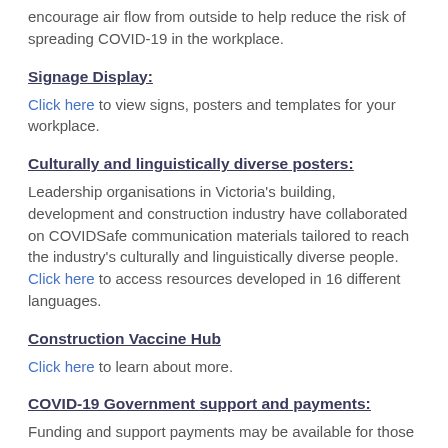encourage air flow from outside to help reduce the risk of spreading COVID-19 in the workplace.
Signage Display:
Click here to view signs, posters and templates for your workplace.
Culturally and linguistically diverse posters:
Leadership organisations in Victoria's building, development and construction industry have collaborated on COVIDSafe communication materials tailored to reach the industry's culturally and linguistically diverse people. Click here to access resources developed in 16 different languages.
Construction Vaccine Hub
Click here to learn about more.
COVID-19 Government support and payments:
Funding and support payments may be available for those who are unable to work due to COVID-19.